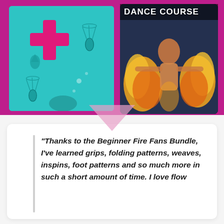[Figure (illustration): Teal card with shuttlecock/badminton and plus sign icons on teal background]
[Figure (photo): Fire dancer surrounded by flames with 'DANCE COURSE' text overlay]
“Thanks to the Beginner Fire Fans Bundle, I’ve learned grips, folding patterns, weaves, inspins, foot patterns and so much more in such a short amount of time. I love flow